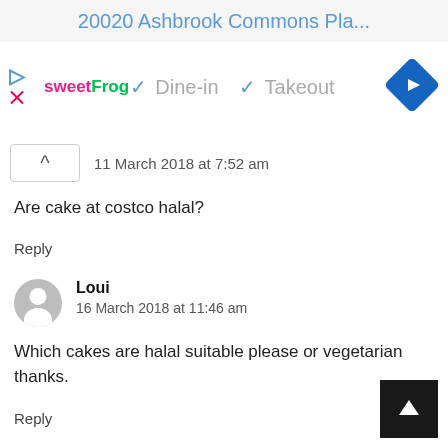20020 Ashbrook Commons Pla...
[Figure (screenshot): sweetFrog ad banner with Dine-in and Takeout options and a navigation diamond icon]
11 March 2018 at 7:52 am
Are cake at costco halal?
Reply
Loui
16 March 2018 at 11:46 am
Which cakes are halal suitable please or vegetarian thanks.
Reply